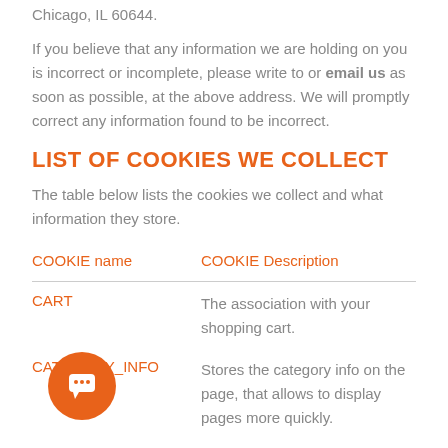Chicago, IL 60644.
If you believe that any information we are holding on you is incorrect or incomplete, please write to or email us as soon as possible, at the above address. We will promptly correct any information found to be incorrect.
LIST OF COOKIES WE COLLECT
The table below lists the cookies we collect and what information they store.
| COOKIE name | COOKIE Description |
| --- | --- |
| CART | The association with your shopping cart. |
| CATEGORY_INFO | Stores the category info on the page, that allows to display pages more quickly. |
| RE | The items that you have in the Compare Products list. |
[Figure (illustration): Orange circular chat bubble icon in bottom left corner]